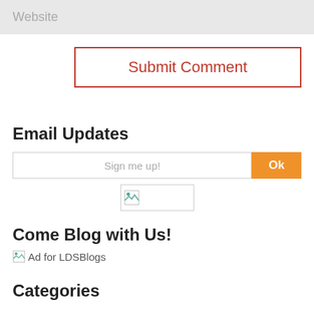Website
[Figure (screenshot): Submit Comment button with red border and red text]
Email Updates
[Figure (screenshot): Email sign-up input field with placeholder 'Sign me up!' and orange Ok button, plus a broken image below]
Come Blog with Us!
[Figure (other): Broken image placeholder with alt text 'Ad for LDSBlogs']
Categories